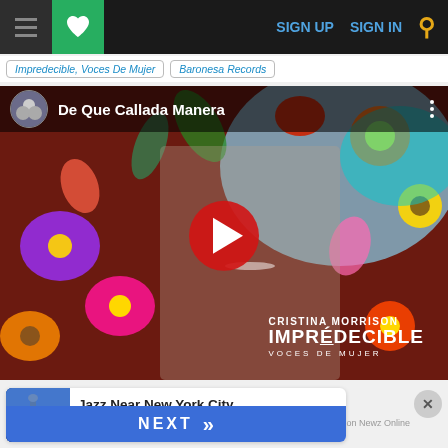Navigation bar with hamburger menu, favorites heart, SIGN UP, SIGN IN, and search icon
Impredecible, Voces De Mujer | Baronesa Records
[Figure (screenshot): YouTube video embed showing 'De Que Callada Manera' by Cristina Morrison - Impredecible Voces De Mujer album, with play button overlay and colorful floral background]
Jazz Near New York City
NEXT